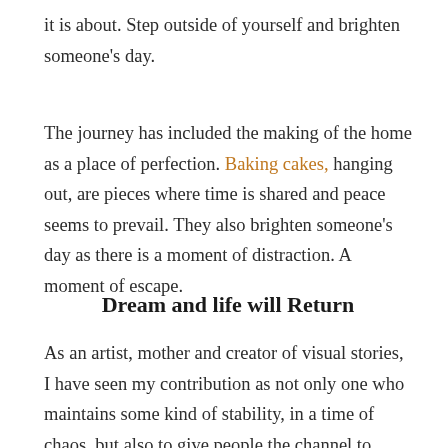it is about. Step outside of yourself and brighten someone's day.
The journey has included the making of the home as a place of perfection. Baking cakes, hanging out, are pieces where time is shared and peace seems to prevail. They also brighten someone's day as there is a moment of distraction. A moment of escape.
Dream and life will Return
As an artist, mother and creator of visual stories, I have seen my contribution as not only one who maintains some kind of stability, in a time of chaos, but also to give people the channel to dream.